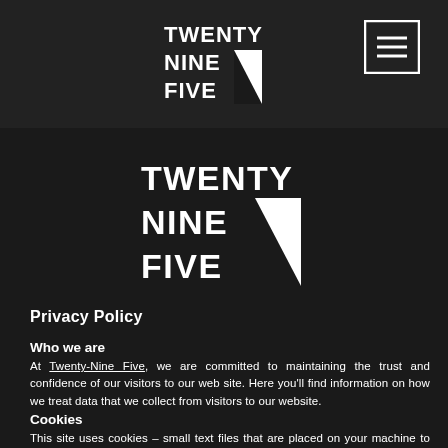[Figure (logo): Twenty Nine Five logo - white text with diagonal slash graphic, small version in header]
[Figure (logo): Menu/hamburger button - three horizontal lines in a square border]
[Figure (logo): Twenty Nine Five logo - white text with diagonal slash graphic, large version centered on page]
Privacy Policy
Who we are
At Twenty-Nine Five, we are committed to maintaining the trust and confidence of our visitors to our web site. Here you'll find information on how we treat data that we collect from visitors to our website.
Cookies
This site uses cookies – small text files that are placed on your machine to help the site provide